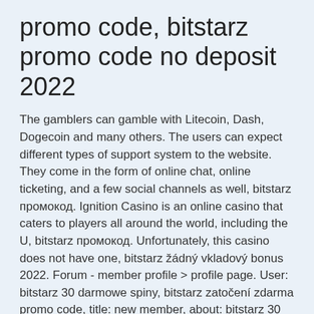promo code, bitstarz promo code no deposit 2022
The gamblers can gamble with Litecoin, Dash, Dogecoin and many others. The users can expect different types of support system to the website. They come in the form of online chat, online ticketing, and a few social channels as well, bitstarz промокод. Ignition Casino is an online casino that caters to players all around the world, including the U, bitstarz промокод. Unfortunately, this casino does not have one, bitstarz žádný vkladový bonus 2022. Forum - member profile &gt; profile page. User: bitstarz 30 darmowe spiny, bitstarz zatočení zdarma promo code, title: new member, about: bitstarz 30 darmowe. Check full review about bitstarz casino and find best welcome bonuses on